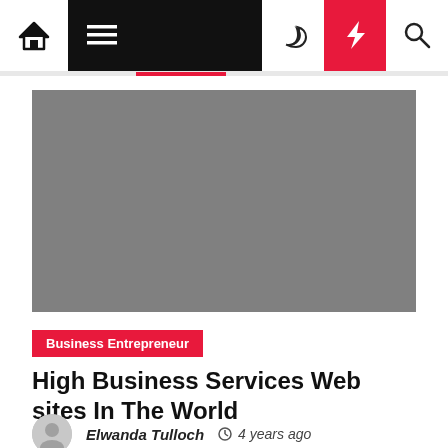Navigation bar with home, menu, moon, bolt, and search icons
[Figure (photo): Gray placeholder hero image for article]
Business Entrepreneur
High Business Services Web sites In The World
Elwanda Tulloch  4 years ago